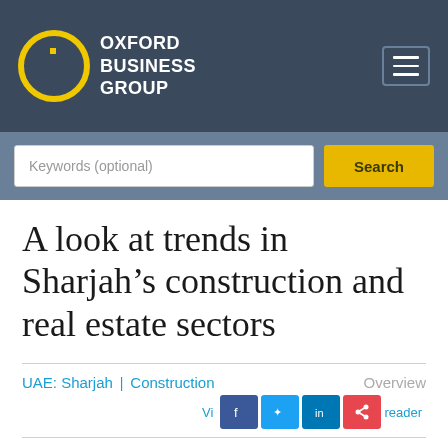Oxford Business Group
Keywords (optional)
A look at trends in Sharjah’s construction and real estate sectors
UAE: Sharjah | Construction   Overview
The emirate of Sharjah has worked to brand itself as a unique player within the UAE and the wider GCC, which has resulted...